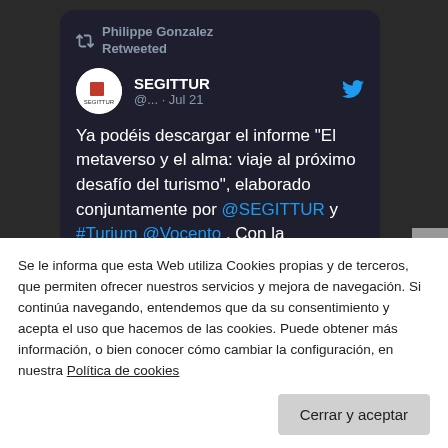[Figure (screenshot): Tweet card on dark background. Philippe Gonzalez Retweeted. SEGITTUR @... · Jul 21. Tweet text: Ya podéis descargar el informe 'El metaverso y el alma: viaje al próximo desafío del turismo', elaborado conjuntamente por @SEGITTUR y #Turium @Vocento . Con la colaboración de expertos en]
Se le informa que esta Web utiliza Cookies propias y de terceros, que permiten ofrecer nuestros servicios y mejora de navegación. Si continúa navegando, entendemos que da su consentimiento y acepta el uso que hacemos de las cookies. Puede obtener más información, o bien conocer cómo cambiar la configuración, en nuestra Política de cookies
Cerrar y aceptar